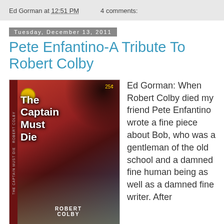Ed Gorman at 12:51 PM   4 comments:
Tuesday, December 13, 2011
Pete Enfantino-A Tribute To Robert Colby
[Figure (photo): Book cover of 'The Captain Must Die' by Robert Colby, a vintage pulp paperback with red background showing soldiers and combat scene, priced 25 cents]
Ed Gorman: When Robert Colby died my friend Pete Enfantino wrote a fine piece about Bob, who was a gentleman of the old school and a damned fine human being as well as a damned fine writer. After